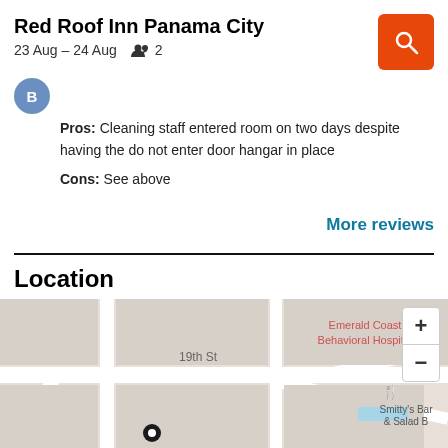Red Roof Inn Panama City
23 Aug – 24 Aug  👥 2
Pros: Cleaning staff entered room on two days despite having the do not enter door hangar in place
Cons: See above
More reviews
Location
[Figure (map): Street map showing area around Red Roof Inn Panama City, including 19th St, Emerald Coast Behavioral Hospital, and Smitty's Bar & Salad B, with a location pin marker and zoom controls.]